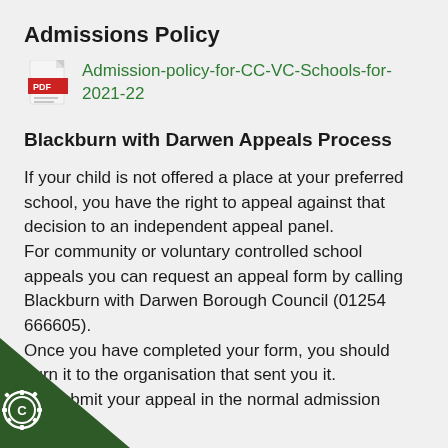Admissions Policy
[Figure (other): PDF file icon with red document graphic and 'PDF' label, linking to Admission-policy-for-CC-VC-Schools-for-2021-22]
Admission-policy-for-CC-VC-Schools-for-2021-22
Blackburn with Darwen Appeals Process
If your child is not offered a place at your preferred school, you have the right to appeal against that decision to an independent appeal panel. For community or voluntary controlled school appeals you can request an appeal form by calling Blackburn with Darwen Borough Council (01254 666605). Once you have completed your form, you should return it to the organisation that sent you it. submit your appeal in the normal admission